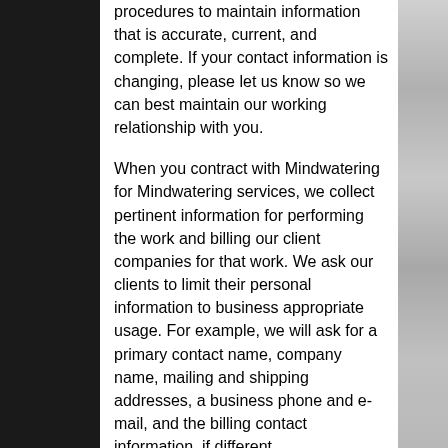procedures to maintain information that is accurate, current, and complete. If your contact information is changing, please let us know so we can best maintain our working relationship with you.
When you contract with Mindwatering for Mindwatering services, we collect pertinent information for performing the work and billing our client companies for that work. We ask our clients to limit their personal information to business appropriate usage. For example, we will ask for a primary contact name, company name, mailing and shipping addresses, a business phone and e-mail, and the billing contact information, if different.
We have third-party vendors and partners which Mindwatering will use to fulfill specific service needs, such as a domain registration, licensing renewal assistance, or producing of a music CD. Mindwatering makes every attempt to make sure such transactions and relationships are only with